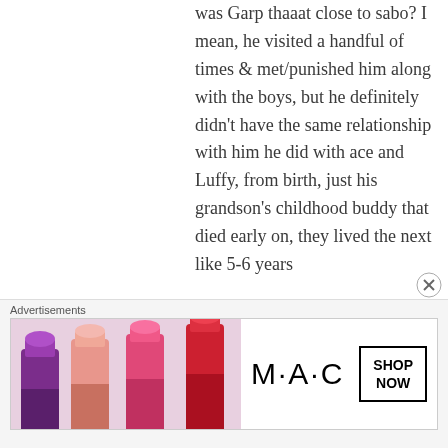was Garp thaaat close to sabo? I mean, he visited a handful of times & met/punished him along with the boys, but he definitely didn't have the same relationship with him he did with ace and Luffy, from birth, just his grandson's childhood buddy that died early on, they lived the next like 5-6 years
[Figure (other): MAC cosmetics advertisement banner showing lipsticks in purple, pink, and red colors with MAC logo and SHOP NOW button]